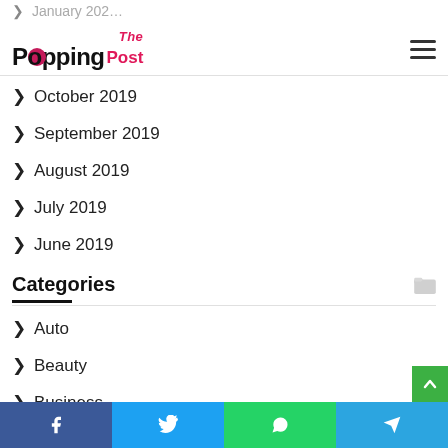The Popping Post
October 2019
September 2019
August 2019
July 2019
June 2019
Categories
Auto
Beauty
Business